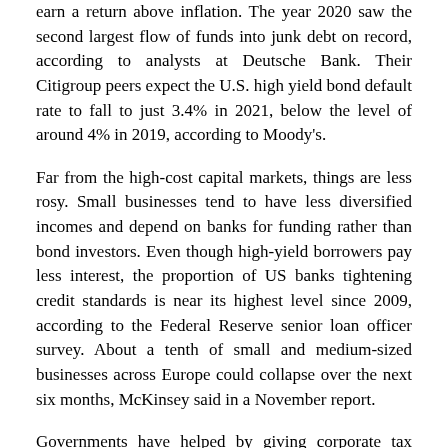earn a return above inflation. The year 2020 saw the second largest flow of funds into junk debt on record, according to analysts at Deutsche Bank. Their Citigroup peers expect the U.S. high yield bond default rate to fall to just 3.4% in 2021, below the level of around 4% in 2019, according to Moody's.
Far from the high-cost capital markets, things are less rosy. Small businesses tend to have less diversified incomes and depend on banks for funding rather than bond investors. Even though high-yield borrowers pay less interest, the proportion of US banks tightening credit standards is near its highest level since 2009, according to the Federal Reserve senior loan officer survey. About a tenth of small and medium-sized businesses across Europe could collapse over the next six months, McKinsey said in a November report.
Governments have helped by giving corporate tax breaks and guaranteeing debt. But in the UK, for example, up to £ 23bn of a potential £ 74bn of state-guaranteed debt could be unsustainable, according to a CityUK report.
The small business crisis is significant. Bigger, more financially sound